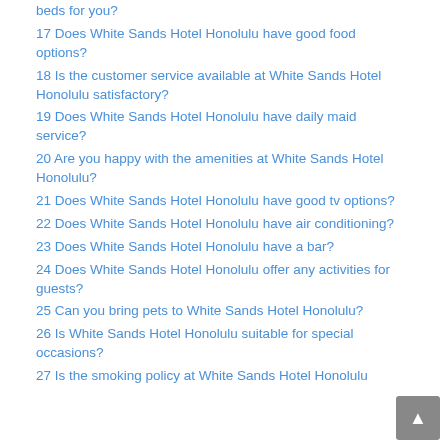beds for you?
17 Does White Sands Hotel Honolulu have good food options?
18 Is the customer service available at White Sands Hotel Honolulu satisfactory?
19 Does White Sands Hotel Honolulu have daily maid service?
20 Are you happy with the amenities at White Sands Hotel Honolulu?
21 Does White Sands Hotel Honolulu have good tv options?
22 Does White Sands Hotel Honolulu have air conditioning?
23 Does White Sands Hotel Honolulu have a bar?
24 Does White Sands Hotel Honolulu offer any activities for guests?
25 Can you bring pets to White Sands Hotel Honolulu?
26 Is White Sands Hotel Honolulu suitable for special occasions?
27 Is the smoking policy at White Sands Hotel Honolulu